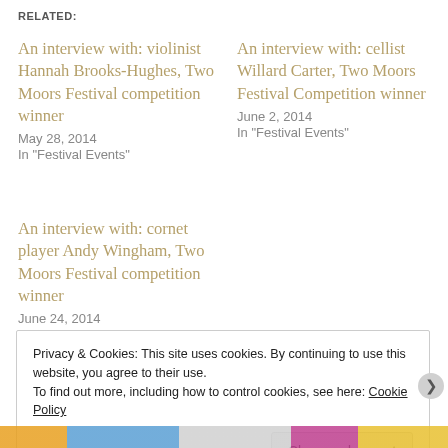RELATED:
An interview with: violinist Hannah Brooks-Hughes, Two Moors Festival competition winner
May 28, 2014
In "Festival Events"
An interview with: cellist Willard Carter, Two Moors Festival Competition winner
June 2, 2014
In "Festival Events"
An interview with: cornet player Andy Wingham, Two Moors Festival competition winner
June 24, 2014
In "Festival Events"
Privacy & Cookies: This site uses cookies. By continuing to use this website, you agree to their use.
To find out more, including how to control cookies, see here: Cookie Policy
Close and accept